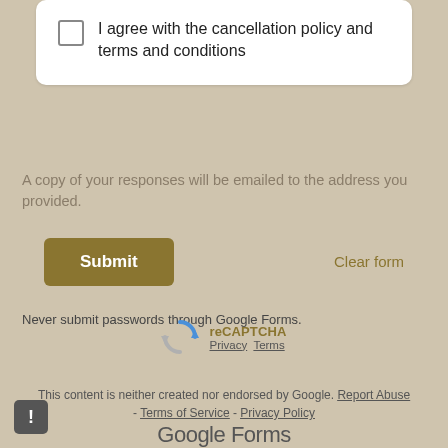I agree with the cancellation policy and terms and conditions
A copy of your responses will be emailed to the address you provided.
Submit
Clear form
Never submit passwords through Google Forms.
[Figure (logo): reCAPTCHA logo with Privacy and Terms links]
This content is neither created nor endorsed by Google. Report Abuse - Terms of Service - Privacy Policy
[Figure (logo): Google Forms logo at bottom center]